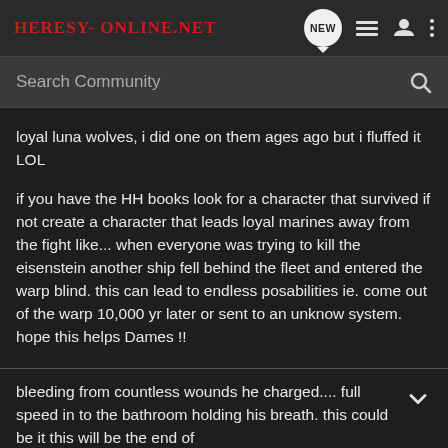Heresy-Online.net
Search Community
loyal luna wolves, i did one on them ages ago but i fluffed it LOL
if you have the HH books look for a character that survived if not create a character that leads loyal marines away from the fight like... when everyone was trying to kill the eisenstein another ship fell behind the fleet and entered the warp blind. this can lead to endless posabilities ie. come out of the warp 10,000 yr later or sent to an unknow system. hope this helps Dames !!
bleeding from countless wounds he charged.... full speed in to the bathroom holding his breath. this could be it this will be the end of